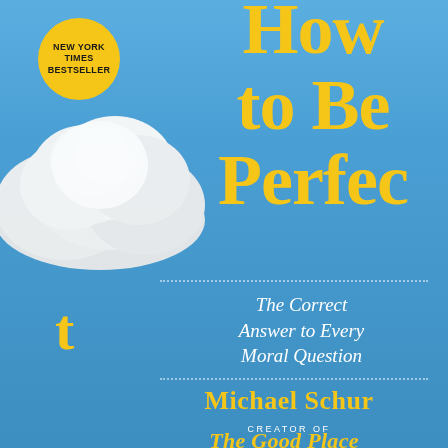[Figure (illustration): Book cover for 'How to Be Perfect: The Correct Answer to Every Moral Question' by Michael Schur, creator of The Good Place. Sky blue background with white cloud on left side. Large gold/yellow bold title text. New York Times Bestseller gold badge in upper left. A standalone lowercase 't' in gold on the left mid-section. Subtitle in white italic text. Author name in gold. 'Creator of The Good Place' in smaller white spaced text at the bottom.]